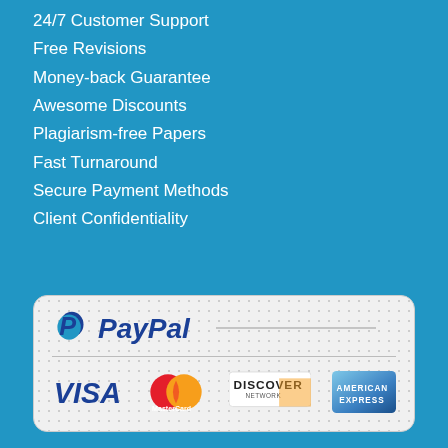24/7 Customer Support
Free Revisions
Money-back Guarantee
Awesome Discounts
Plagiarism-free Papers
Fast Turnaround
Secure Payment Methods
Client Confidentiality
[Figure (logo): Payment methods banner showing PayPal, Visa, MasterCard, Discover Network, and American Express logos on a checkered white background with rounded rectangle border]